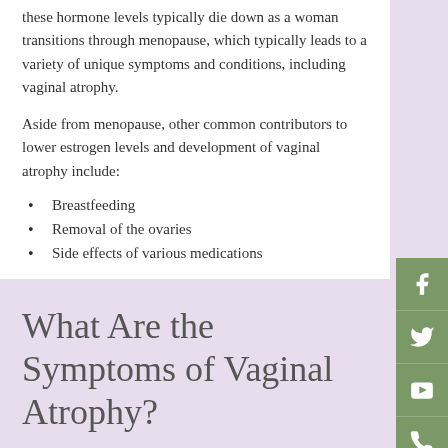these hormone levels typically die down as a woman transitions through menopause, which typically leads to a variety of unique symptoms and conditions, including vaginal atrophy.
Aside from menopause, other common contributors to lower estrogen levels and development of vaginal atrophy include:
Breastfeeding
Removal of the ovaries
Side effects of various medications
What Are the Symptoms of Vaginal Atrophy?
As previously mentioned, women suffering from vaginal atrophy are very likely to experience vaginal dryness, which can in turn result in a variety of specific symptoms such as: